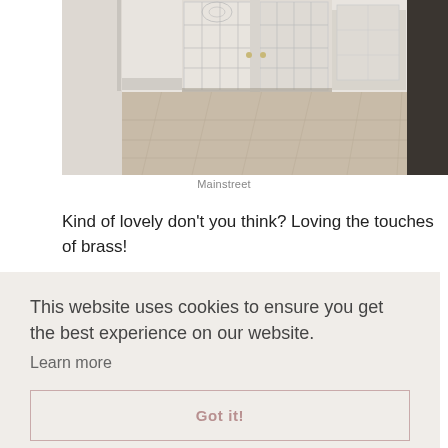[Figure (photo): Interior hallway/entryway with white French doors, paneled walls, and light wood herringbone-style flooring. A partial dark door is visible at the right edge.]
Mainstreet
Kind of lovely don't you think? Loving the touches of brass!
This website uses cookies to ensure you get the best experience on our website.
Learn more
Got it!
man eagerly waiting in their swim gear, towels over